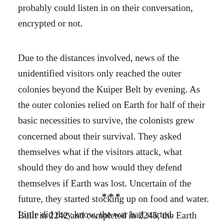probably could listen in on their conversation, encrypted or not.
Due to the distances involved, news of the unidentified visitors only reached the outer colonies beyond the Kuiper Belt by evening. As the outer colonies relied on Earth for half of their basic necessities to survive, the colonists grew concerned about their survival. They asked themselves what if the visitors attack, what should they do and how would they defend themselves if Earth was lost. Uncertain of the future, they started stocking up on food and water. Little did they know, the war had started.
***
Built in 2242 and completed in 2245, the Earth Union